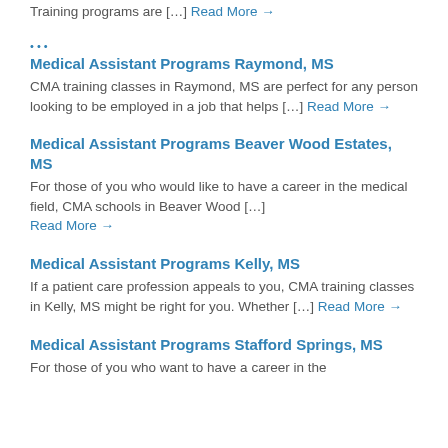Training programs are […] Read More →
Medical Assistant Programs Raymond, MS
CMA training classes in Raymond, MS are perfect for any person looking to be employed in a job that helps […] Read More →
Medical Assistant Programs Beaver Wood Estates, MS
For those of you who would like to have a career in the medical field, CMA schools in Beaver Wood […] Read More →
Medical Assistant Programs Kelly, MS
If a patient care profession appeals to you, CMA training classes in Kelly, MS might be right for you. Whether […] Read More →
Medical Assistant Programs Stafford Springs, MS
For those of you who want to have a career in the